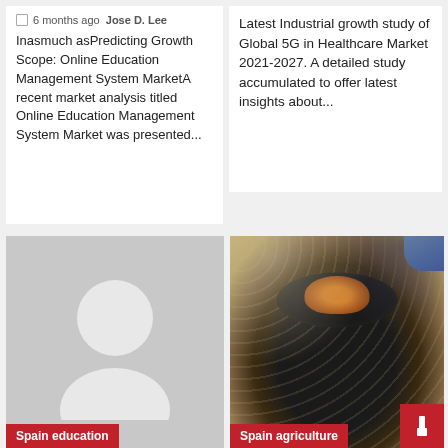6 months ago  Jose D. Lee
Inasmuch asPredicting Growth Scope: Online Education Management System MarketA recent market analysis titled Online Education Management System Market was presented...
Latest Industrial growth study of Global 5G in Healthcare Market 2021-2027. A detailed study accumulated to offer latest insights about...
[Figure (illustration): Default avatar placeholder image showing a grey silhouette of a person (head and shoulders) on a light grey background with a red 'Spain education' tag label at bottom left]
[Figure (photo): Close-up photo of a food dish — appears to be sea urchin or similar seafood in a dark spiny shell/bowl on a textured surface, with a red 'Spain agriculture' tag label at bottom left and a red icon button at bottom right]